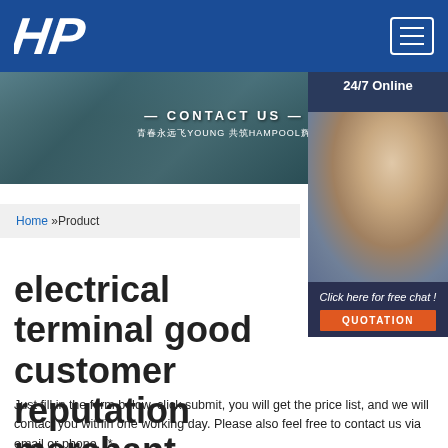[Figure (logo): HP logo in white italic letters on blue header bar with hamburger menu button]
[Figure (photo): Banner image showing group of people outdoors with text CONTACT US overlay and Chinese text 青春永远飞YOUNG 共筑HAMPOOL辉]
[Figure (photo): Sidebar chat widget showing 24/7 Online text, photo of woman with headset, Click here for free chat! text, and QUOTATION button]
Home »Product
electrical terminal good customer reputation merchant
Just fill in the form below, click submit, you will get the price list, and we will contact you within one working day. Please also feel free to contact us via email or phone. (*